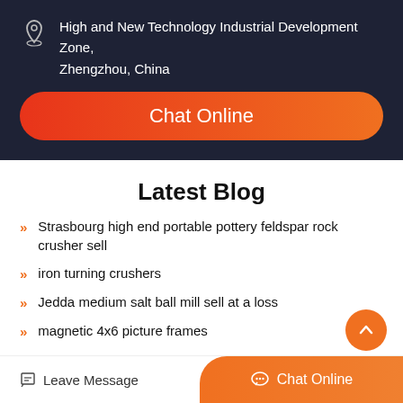High and New Technology Industrial Development Zone, Zhengzhou, China
[Figure (other): Chat Online button with orange-red gradient and rounded corners]
Latest Blog
Strasbourg high end portable pottery feldspar rock crusher sell
iron turning crushers
Jedda medium salt ball mill sell at a loss
magnetic 4x6 picture frames
Leave Message | Chat Online